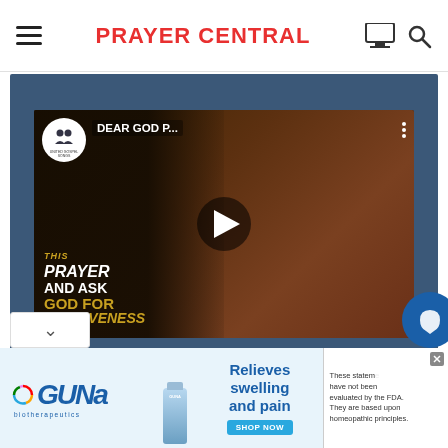PRAYER CENTRAL
[Figure (screenshot): Video thumbnail for 'DEAR GOD P...' prayer video showing text 'PRAYER AND ASK GOD FOR FORGIVENESS' overlaid on image of a person praying, with play button in center and channel badge top left]
LIKE US ON FACEBOOK
[Figure (screenshot): Advertisement banner for GUNA biotherapeutics showing logo, bottle image, text 'Relieves swelling and pain', SHOP NOW button, and FDA disclaimer text]